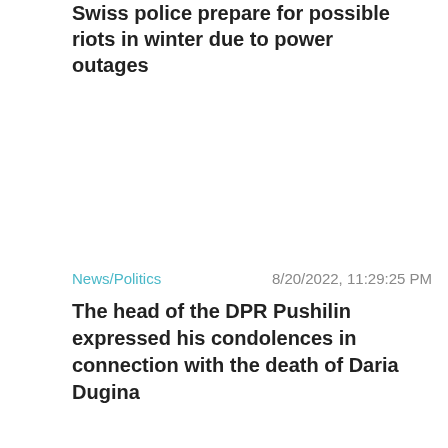Swiss police prepare for possible riots in winter due to power outages
News/Politics
8/20/2022, 11:29:25 PM
The head of the DPR Pushilin expressed his condolences in connection with the death of Daria Dugina